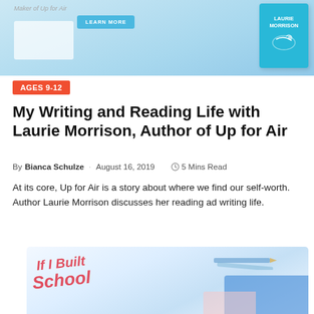[Figure (illustration): Top banner with light blue background showing a book cover for 'Up for Air' by Laurie Morrison with a swimmer illustration, a 'Learn More' button, and faded text above]
AGES 9-12
My Writing and Reading Life with Laurie Morrison, Author of Up for Air
By Bianca Schulze · August 16, 2019  5 Mins Read
At its core, Up for Air is a story about where we find our self-worth. Author Laurie Morrison discusses her reading ad writing life.
[Figure (photo): Faded image of children's books including one titled 'If I Built School' with colorful illustrated covers arranged on a surface]